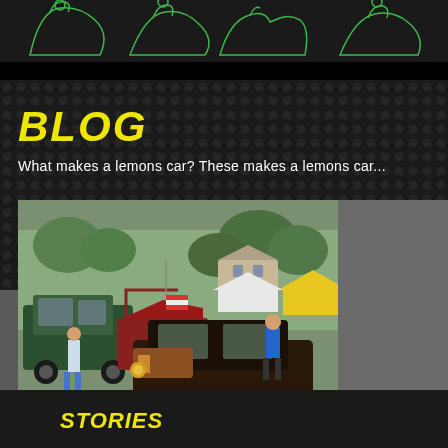[Figure (illustration): Top decorative banner with green outline animal/figure silhouettes on dark background]
BLOG
What makes a lemons car? These makes a lemons car...
[Figure (photo): Outdoor car show photograph featuring a dark vintage/antique car (Model A style) in the foreground on asphalt parking lot. Background shows green SUV, red car with hood up, people milling around, colorful tents (yellow, white), trees and buildings.]
[Figure (logo): Sponsor logos: Concours d'Lemons, DIY (boxed), HAGERTY]
STORIES